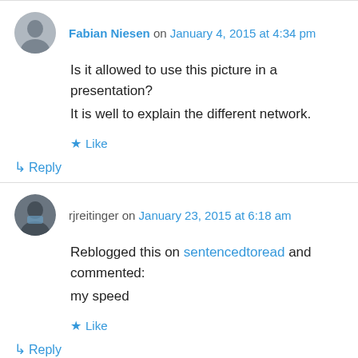Fabian Niesen on January 4, 2015 at 4:34 pm
Is it allowed to use this picture in a presentation? It is well to explain the different network.
Like
Reply
rjreitinger on January 23, 2015 at 6:18 am
Reblogged this on sentencedtoread and commented:
my speed
Like
Reply